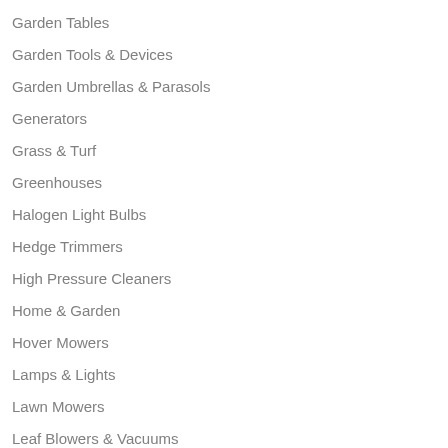Garden Tables
Garden Tools & Devices
Garden Umbrellas & Parasols
Generators
Grass & Turf
Greenhouses
Halogen Light Bulbs
Hedge Trimmers
High Pressure Cleaners
Home & Garden
Hover Mowers
Lamps & Lights
Lawn Mowers
Leaf Blowers & Vacuums
Leisure Time